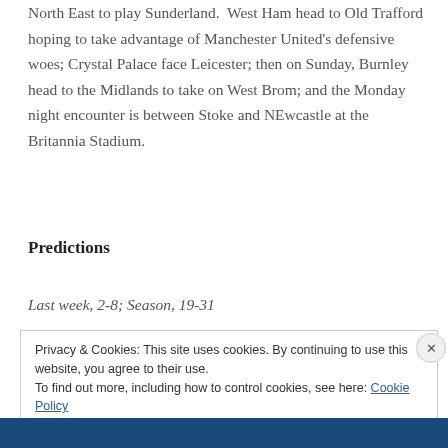North East to play Sunderland.  West Ham head to Old Trafford hoping to take advantage of Manchester United's defensive woes; Crystal Palace face Leicester; then on Sunday, Burnley head to the Midlands to take on West Brom; and the Monday night encounter is between Stoke and NEwcastle at the Britannia Stadium.
Predictions
Last week, 2-8; Season, 19-31
Privacy & Cookies: This site uses cookies. By continuing to use this website, you agree to their use.
To find out more, including how to control cookies, see here: Cookie Policy
Close and accept